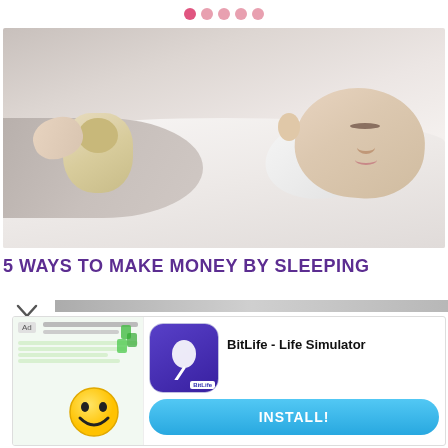● ● ● ● ●
[Figure (photo): A young toddler sleeping on a white pillow, hugging a stuffed animal toy, wearing a white shirt. Soft grey and white tones.]
5 WAYS TO MAKE MONEY BY SLEEPING
[Figure (screenshot): Advertisement banner for BitLife - Life Simulator app. Shows ad image on left with smiley face emoji graphic, BitLife app icon in center, app name 'BitLife - Life Simulator' and an INSTALL! button at the bottom.]